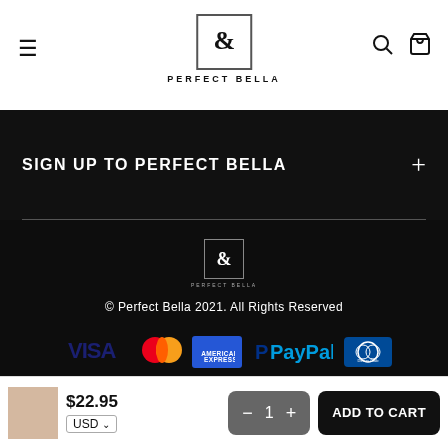[Figure (logo): Perfect Bella logo with stylized ampersand/cross symbol in a square box, text PERFECT BELLA below]
SIGN UP TO PERFECT BELLA
[Figure (logo): Perfect Bella footer logo (smaller version)]
© Perfect Bella 2021. All Rights Reserved
[Figure (infographic): Payment method logos: VISA, Mastercard, American Express, PayPal, Diners Club]
$22.95 USD — Quantity selector (1) — ADD TO CART